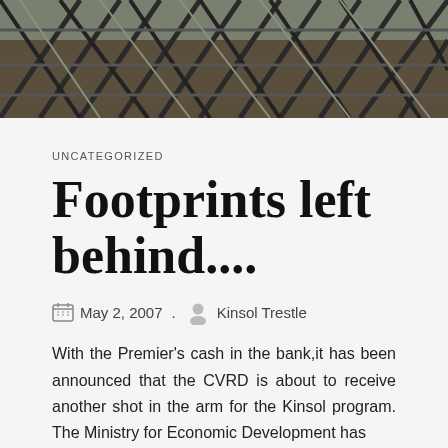[Figure (photo): Aerial or close-up photograph of a trestle/bridge steel framework structure, dark tones with metal beams and supports visible.]
UNCATEGORIZED
Footprints left behind....
May 2, 2007 . Kinsol Trestle
With the Premier's cash in the bank,it has been announced that the CVRD is about to receive another shot in the arm for the Kinsol program. The Ministry for Economic Development has